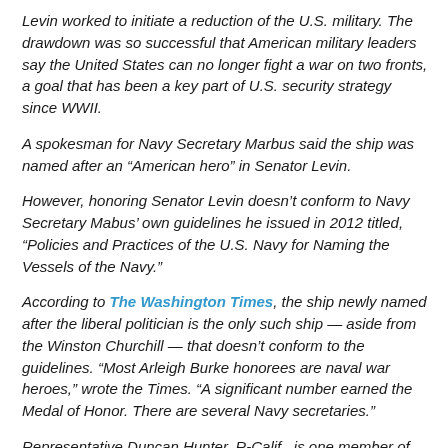Levin worked to initiate a reduction of the U.S. military. The drawdown was so successful that American military leaders say the United States can no longer fight a war on two fronts, a goal that has been a key part of U.S. security strategy since WWII.
A spokesman for Navy Secretary Marbus said the ship was named after an “American hero” in Senator Levin.
However, honoring Senator Levin doesn’t conform to Navy Secretary Mabus’ own guidelines he issued in 2012 titled, “Policies and Practices of the U.S. Navy for Naming the Vessels of the Navy.”
According to The Washington Times, the ship newly named after the liberal politician is the only such ship — aside from the Winston Churchill — that doesn’t conform to the guidelines. “Most Arleigh Burke honorees are naval war heroes,” wrote the Times. “A significant number earned the Medal of Honor. There are several Navy secretaries.”
Representative Duncan Hunter, R-Calif., is one member of Congress unhappy over the breach of guidelines. Hunter, a Marine Corps veteran, sent a letter to the Navy